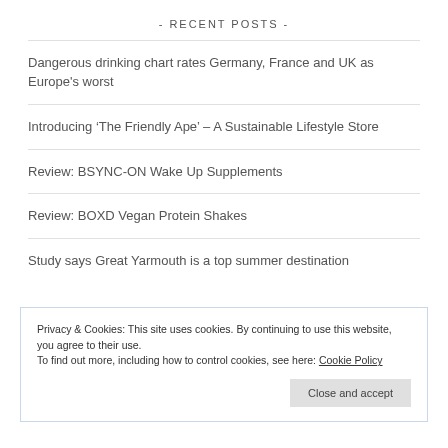- RECENT POSTS -
Dangerous drinking chart rates Germany, France and UK as Europe's worst
Introducing ‘The Friendly Ape’ – A Sustainable Lifestyle Store
Review: BSYNC-ON Wake Up Supplements
Review: BOXD Vegan Protein Shakes
Study says Great Yarmouth is a top summer destination
Privacy & Cookies: This site uses cookies. By continuing to use this website, you agree to their use.
To find out more, including how to control cookies, see here: Cookie Policy
Close and accept